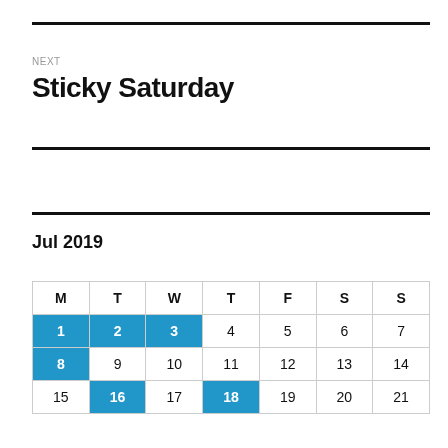NEXT
Sticky Saturday
Jul 2019
| M | T | W | T | F | S | S |
| --- | --- | --- | --- | --- | --- | --- |
| 1 | 2 | 3 | 4 | 5 | 6 | 7 |
| 8 | 9 | 10 | 11 | 12 | 13 | 14 |
| 15 | 16 | 17 | 18 | 19 | 20 | 21 |